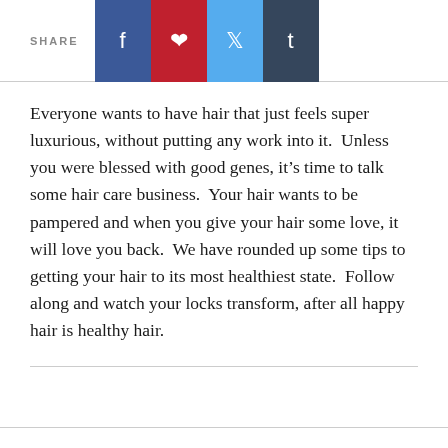SHARE
Everyone wants to have hair that just feels super luxurious, without putting any work into it.  Unless you were blessed with good genes, it’s time to talk some hair care business.  Your hair wants to be pampered and when you give your hair some love, it will love you back.  We have rounded up some tips to getting your hair to its most healthiest state.  Follow along and watch your locks transform, after all happy hair is healthy hair.